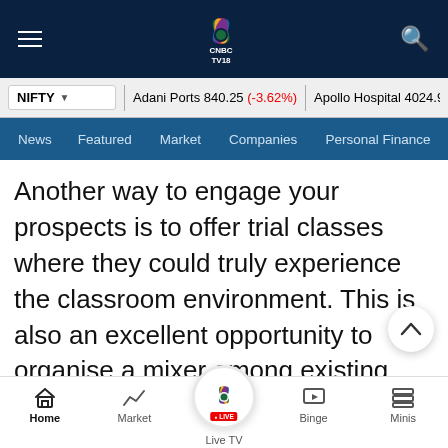[Figure (screenshot): CNBC TV18 mobile app header with hamburger menu, CNBC TV18 peacock logo, and search icon on dark navy background]
NIFTY ▾   Adani Ports 840.25 (-3.62%)   Apollo Hospital 4024.90 (-2...
News  Featured  Market  Companies  Personal Finance
Another way to engage your prospects is to offer trial classes where they could truly experience the classroom environment. This is also an excellent opportunity to organise a mixer among existing and potential students. The testimonials of students from your current batch could go a long way in convincing new learners. These are all very critical pieces that help
Home  Market  Live TV  Binge  Minis